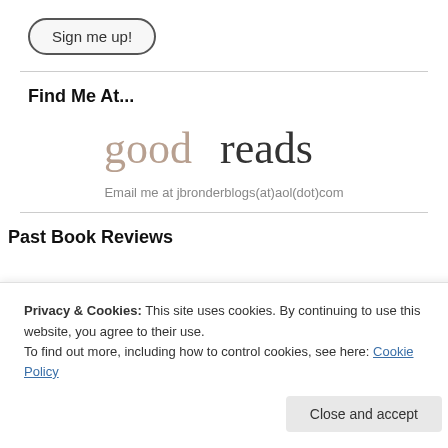Sign me up!
Find Me At...
[Figure (logo): Goodreads logo — stylized text 'goodreads' in serif font with tan/brown coloring]
Email me at jbronderblogs(at)aol(dot)com
Past Book Reviews
Privacy & Cookies: This site uses cookies. By continuing to use this website, you agree to their use.
To find out more, including how to control cookies, see here: Cookie Policy
Close and accept